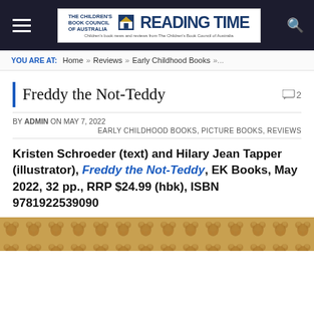THE CHILDREN'S BOOK COUNCIL OF AUSTRALIA Reading Time — Children's book news and reviews from The Children's Book Council of Australia
YOU ARE AT: Home » Reviews » Early Childhood Books »...
Freddy the Not-Teddy
BY ADMIN ON MAY 7, 2022
EARLY CHILDHOOD BOOKS, PICTURE BOOKS, REVIEWS
Kristen Schroeder (text) and Hilary Jean Tapper (illustrator), Freddy the Not-Teddy, EK Books, May 2022, 32 pp., RRP $24.99 (hbk), ISBN 9781922539090
[Figure (photo): Bottom portion of book cover or illustration showing a tiled teddy bear pattern in golden/brown tones]